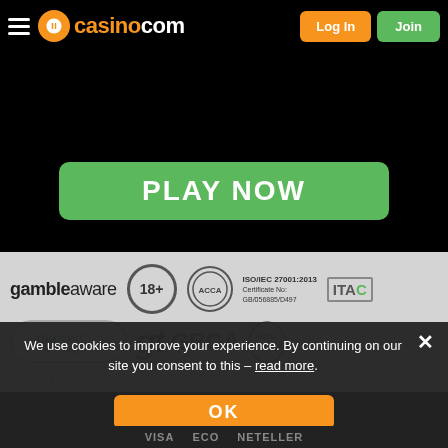casino.com – Log In | Join
need to introduce yourself to this casino in style.
[Figure (other): Green PLAY NOW call-to-action button]
[Figure (other): Certification logos row: gambleaware, 18+, ACCA, ISO/IEC 27001:2013 Certificate No: GB/056885/D497, ITAC]
[Figure (other): Certification logos row 2: DigiCert Secured, gt, GBGA, Royal Crest]
We use cookies to improve your experience. By continuing on our site you consent to this – read more.
[Figure (other): OK button (orange) for cookie consent]
[Figure (other): Payment method logos: VISA, eco, NETELLER]